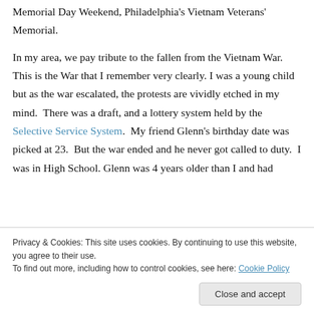Memorial Day Weekend, Philadelphia's Vietnam Veterans' Memorial.
In my area, we pay tribute to the fallen from the Vietnam War.  This is the War that I remember very clearly. I was a young child but as the war escalated, the protests are vividly etched in my mind.  There was a draft, and a lottery system held by the Selective Service System.  My friend Glenn's birthday date was picked at 23.  But the war ended and he never got called to duty.  I was in High School. Glenn was 4 years older than I and had
Privacy & Cookies: This site uses cookies. By continuing to use this website, you agree to their use.
To find out more, including how to control cookies, see here: Cookie Policy